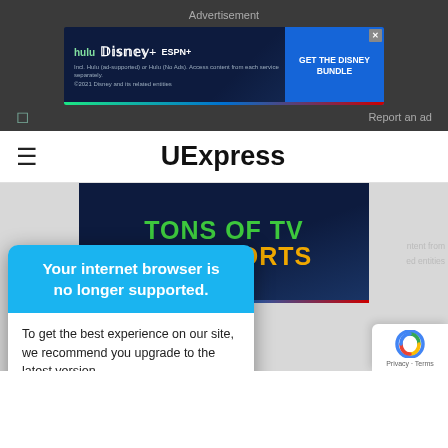Advertisement
[Figure (screenshot): Disney Bundle advertisement banner showing Hulu, Disney+, ESPN+ logos with 'GET THE DISNEY BUNDLE' call to action button]
Report an ad
UExpress
[Figure (screenshot): Background advertisement showing 'TONS OF TV' in green and 'LIVE SPORTS' in yellow/orange text on dark blue background]
Your internet browser is no longer supported.
To get the best experience on our site, we recommend you upgrade to the latest version.